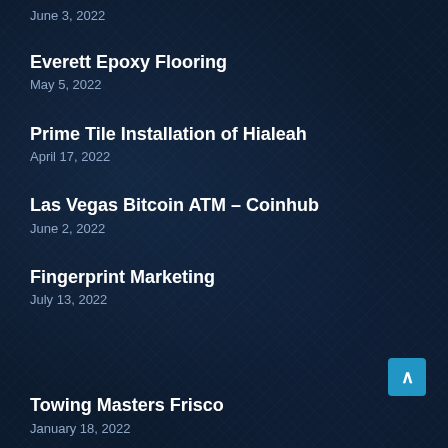June 3, 2022
Everett Epoxy Flooring
May 5, 2022
Prime Tile Installation of Hialeah
April 17, 2022
Las Vegas Bitcoin ATM – Coinhub
June 2, 2022
Fingerprint Marketing
July 13, 2022
Towing Masters Frisco
January 18, 2022